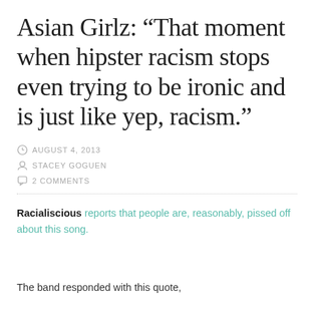Asian Girlz: “That moment when hipster racism stops even trying to be ironic and is just like yep, racism.”
AUGUST 4, 2013
STACEY GOGUEN
2 COMMENTS
Racialiscious reports that people are, reasonably, pissed off about this song.
The band responded with this quote,